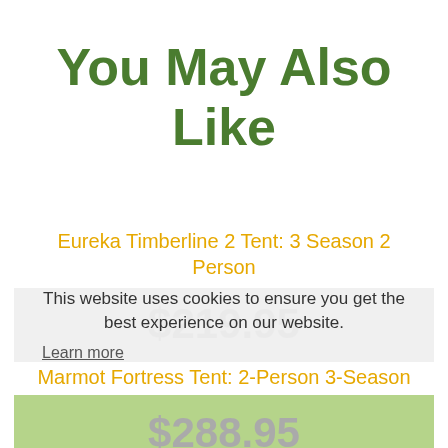You May Also Like
Eureka Timberline 2 Tent: 3 Season 2 Person
$219.95
This website uses cookies to ensure you get the best experience on our website.
Learn more
Marmot Fortress Tent: 2-Person 3-Season
$288.95